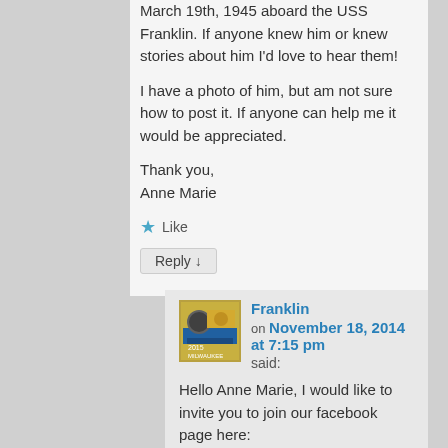March 19th, 1945 aboard the USS Franklin. If anyone knew him or knew stories about him I'd love to hear them!
I have a photo of him, but am not sure how to post it. If anyone can help me it would be appreciated.
Thank you,
Anne Marie
★ Like
Reply ↓
Franklin
on November 18, 2014 at 7:15 pm said:
Hello Anne Marie, I would like to invite you to join our facebook page here:
http://www.facebook.com/groups/1071235